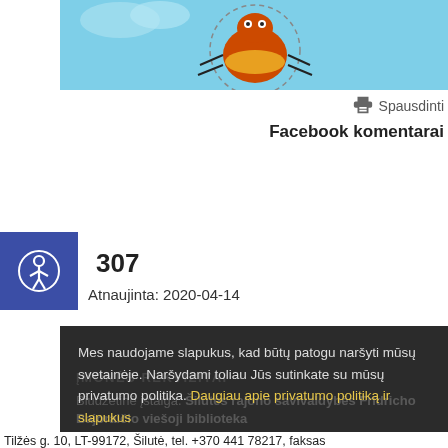[Figure (illustration): A cartoon bug/beetle character with orange body on a light blue background, shown from above with dashed circle around it]
Spausdinti
Facebook komentarai
[Figure (other): Accessibility icon button - white person figure on blue square background]
307
Atnaujinta: 2020-04-14
Mes naudojame slapukus, kad būtų patogu naršyti mūsų svetainėje. Naršydami toliau Jūs sutinkate su mūsų privatumo politika. Daugiau apie privatumo politiką ir slapukus
Gerai
ĮMONĖS REKVIZITAI
Biudžetinė įstaiga. Šilutės rajono savivaldybės Fridricho Bajoraičio viešoji biblioteka
Tilžės g. 10, LT-99172, Šilutė, tel. +370 441 78217, faksas